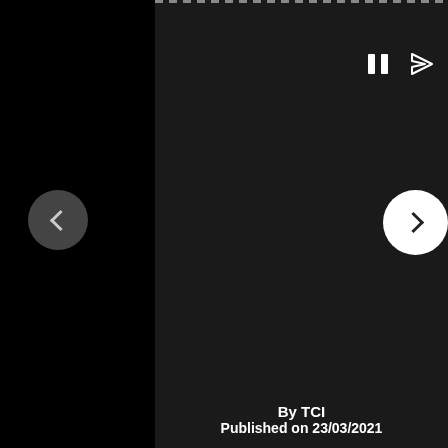[Figure (screenshot): Dark UI panel with dashed top border, pause and share icons at top right, navigation arrows on left and right sides]
By TCI
Published on 23/03/2021